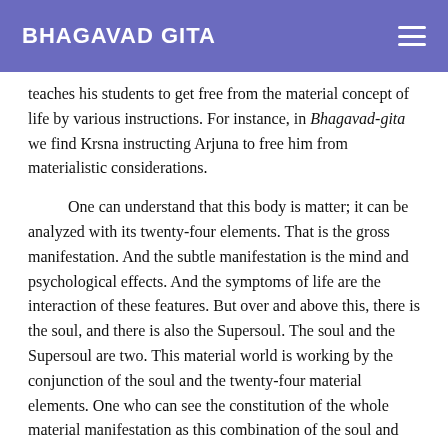BHAGAVAD GITA
teaches his students to get free from the material concept of life by various instructions. For instance, in Bhagavad-gita we find Krsna instructing Arjuna to free him from materialistic considerations.
One can understand that this body is matter; it can be analyzed with its twenty-four elements. That is the gross manifestation. And the subtle manifestation is the mind and psychological effects. And the symptoms of life are the interaction of these features. But over and above this, there is the soul, and there is also the Supersoul. The soul and the Supersoul are two. This material world is working by the conjunction of the soul and the twenty-four material elements. One who can see the constitution of the whole material manifestation as this combination of the soul and material elements and also can see the situation of the Supreme Soul becomes eligible for transfer to the spiritual world. These things are meant for contemplation and for realization, and one should have a complete understanding of this chapter with the help of the spiritual master.